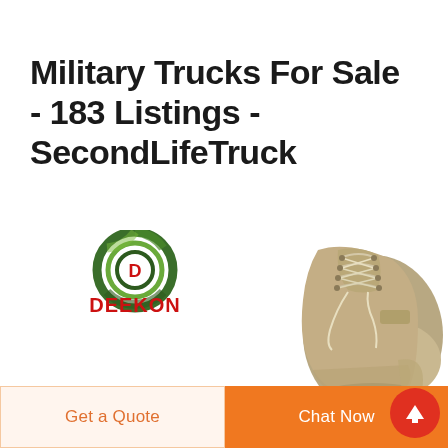Military Trucks For Sale - 183 Listings - SecondLifeTruck
[Figure (logo): DEEKON brand logo with camouflage circular target icon and bold red text DEEKON below]
[Figure (photo): Tan/khaki military desert boot, top-down angled view showing laces and toe box]
Get a Quote
Chat Now